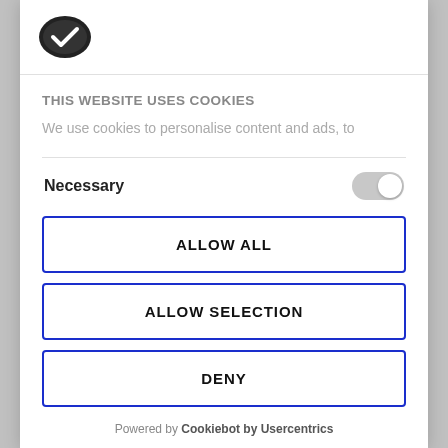[Figure (logo): Cookie consent logo: dark cookie icon with checkmark]
THIS WEBSITE USES COOKIES
We use cookies to personalise content and ads, to
Necessary
ALLOW ALL
ALLOW SELECTION
DENY
Powered by Cookiebot by Usercentrics